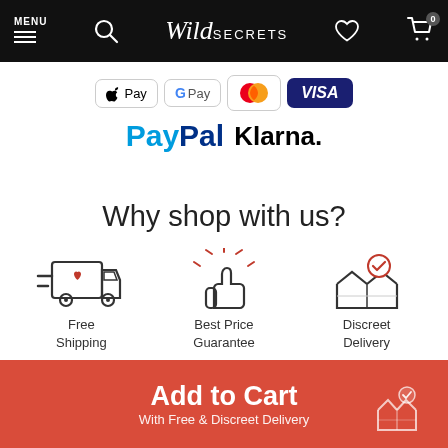[Figure (screenshot): Wild Secrets e-commerce navigation bar with MENU, search icon, Wild Secrets logo, heart icon, and cart icon with 0]
[Figure (infographic): Payment method logos: Apple Pay, Google Pay, Mastercard, Visa, PayPal, Klarna]
Why shop with us?
[Figure (infographic): Three icons: delivery truck with heart (Free Shipping), thumbs up with sparkles (Best Price Guarantee), open box with checkmark (Discreet Delivery)]
[Figure (infographic): Add to Cart button with text 'Add to Cart' and 'With Free & Discreet Delivery', with discreet box icon]